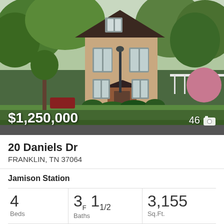[Figure (photo): Exterior photo of a brick two-story house at 20 Daniels Dr, Franklin TN, surrounded by trees and landscaping. Price overlay shows $1,250,000 and photo count 46 with camera icon.]
20 Daniels Dr
FRANKLIN, TN 37064
Jamison Station
| Beds | Baths | Sq.Ft. |
| --- | --- | --- |
| 4 | 3F  11/2 | 3,155 |
MLS #: 2406513
[Figure (photo): Partial view of another property listing photo at the bottom of the page.]